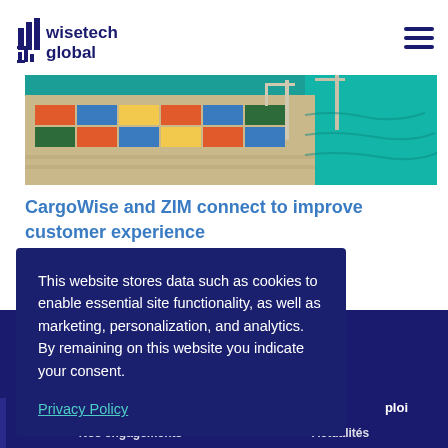[Figure (logo): WiseTech Global logo with bar chart icon and text]
[Figure (photo): Aerial view of a port with shipping containers, cranes, and teal water]
CargoWise and ZIM connect to improve customer experience
This website stores data such as cookies to enable essential site functionality, as well as marketing, personalization, and analytics. By remaining on this website you indicate your consent.
Privacy Policy
ploi
Nos engagements
Actualités